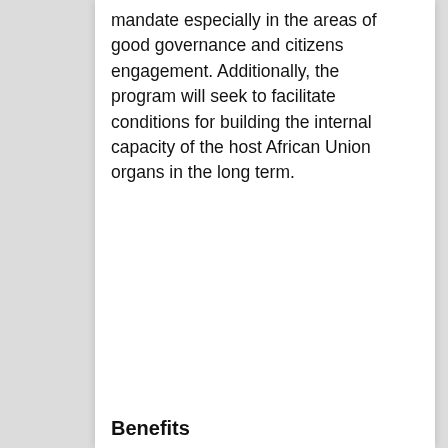mandate especially in the areas of good governance and citizens engagement. Additionally, the program will seek to facilitate conditions for building the internal capacity of the host African Union organs in the long term.
Benefits